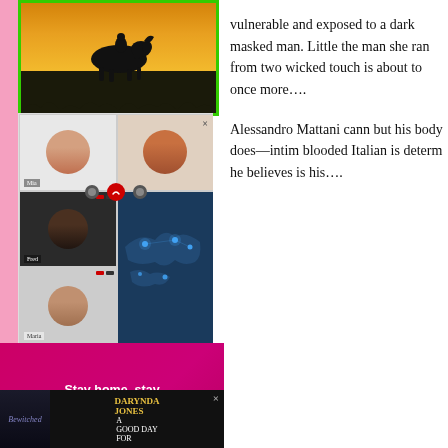[Figure (photo): Book cover silhouette of a horse and rider against a golden sunset sky, with a bright green border]
[Figure (screenshot): Video call interface showing multiple participants in a grid layout with a world map panel]
[Figure (infographic): Pink/magenta Zoom advertisement banner with text 'Stay home, stay sane, and stay connected with our video book club!' and Zoom logo, with Fresh Fiction badge and page curl]
[Figure (photo): Darynda Jones book ad showing 'A Good Day For...' with dark background]
vulnerable and exposed to a dark masked man. Little the man she ran from two wicked touch is about to once more….
Alessandro Mattani cann but his body does—intim blooded Italian is determ he believes is his….